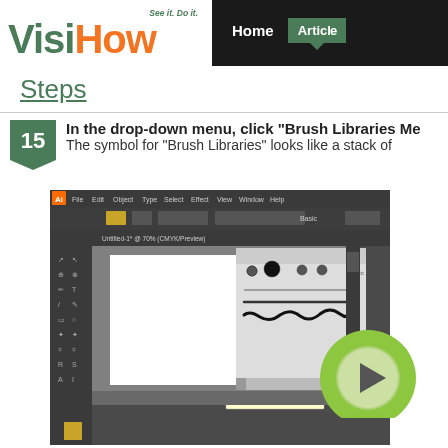VisiHow - See it. Do it. | Home | Articles
Steps
15 In the drop-down menu, click "Brush Libraries Me... The symbol for "Brush Libraries" looks like a stack of
[Figure (screenshot): Adobe Illustrator CS6 application screenshot showing the Brushes panel with a dropdown menu open, and a tooltip labeled 'Brush Libraries Menu' visible at the bottom of the panel.]